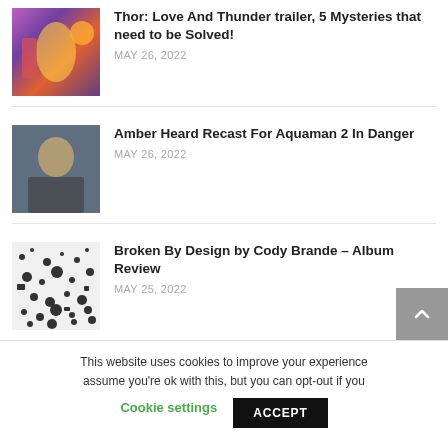Thor: Love And Thunder trailer, 5 Mysteries that need to be Solved! MAY 26, 2022
Amber Heard Recast For Aquaman 2 In Danger MAY 26, 2022
Broken By Design by Cody Brande – Album Review MAY 25, 2022
This website uses cookies to improve your experience assume you're ok with this, but you can opt-out if you
Cookie settings
ACCEPT